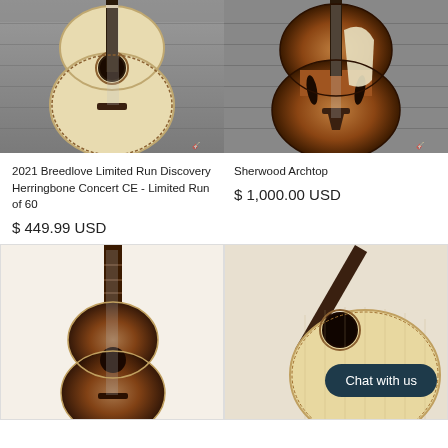[Figure (photo): Acoustic guitar (Breedlove) with natural spruce top on wood background, front view]
[Figure (photo): Sherwood archtop guitar with sunburst finish, front view on wood background]
2021 Breedlove Limited Run Discovery Herringbone Concert CE - Limited Run of 60
$ 449.99 USD
Sherwood Archtop
$ 1,000.00 USD
[Figure (photo): Dark sunburst acoustic guitar full body shot from front]
[Figure (photo): Natural finish acoustic guitar close-up body with Chat with us badge overlay]